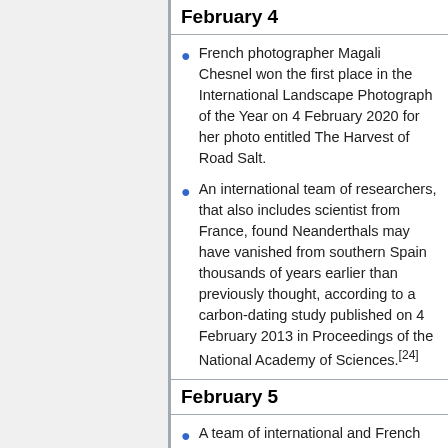February 4
French photographer Magali Chesnel won the first place in the International Landscape Photograph of the Year on 4 February 2020 for her photo entitled The Harvest of Road Salt.
An international team of researchers, that also includes scientist from France, found Neanderthals may have vanished from southern Spain thousands of years earlier than previously thought, according to a carbon-dating study published on 4 February 2013 in Proceedings of the National Academy of Sciences.[24]
February 5
A team of international and French